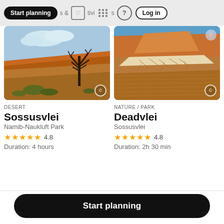Start planning | & activities | ? | Log in
[Figure (photo): Desert landscape with dead tree and orange sand dunes under blue sky - Sossusvlei]
DESERT
Sossusvlei
Namib-Naukluft Park
★★★★★ 4.8
Duration: 4 hours
[Figure (photo): Aerial view of cracked dry riverbed with orange sand dunes - Deadvlei]
NATURE / PARK
Deadvlei
Sossusvlei
★★★★★ 4.8
Duration: 2h 30 min
Start planning